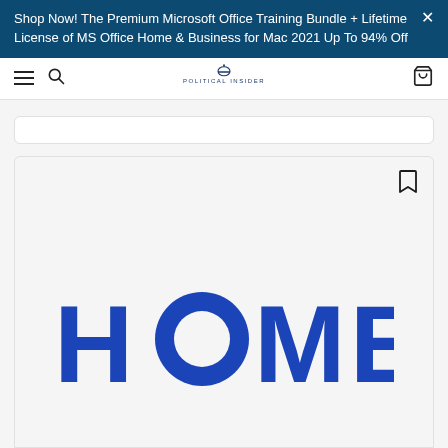Shop Now! The Premium Microsoft Office Training Bundle + Lifetime License of MS Office Home & Business for Mac 2021 Up To 94% Off
[Figure (logo): Political Insider website navigation bar with hamburger menu, search icon, Political Insider logo in center, and cart icon on right]
[Figure (logo): HOMER logo in large bold blue uppercase letters on a light gray background, with a bookmark icon in the upper right corner]